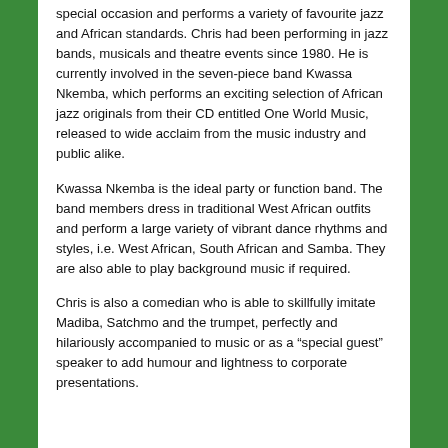special occasion and performs a variety of favourite jazz and African standards. Chris had been performing in jazz bands, musicals and theatre events since 1980. He is currently involved in the seven-piece band Kwassa Nkemba, which performs an exciting selection of African jazz originals from their CD entitled One World Music, released to wide acclaim from the music industry and public alike.
Kwassa Nkemba is the ideal party or function band. The band members dress in traditional West African outfits and perform a large variety of vibrant dance rhythms and styles, i.e. West African, South African and Samba. They are also able to play background music if required.
Chris is also a comedian who is able to skillfully imitate Madiba, Satchmo and the trumpet, perfectly and hilariously accompanied to music or as a “special guest” speaker to add humour and lightness to corporate presentations.